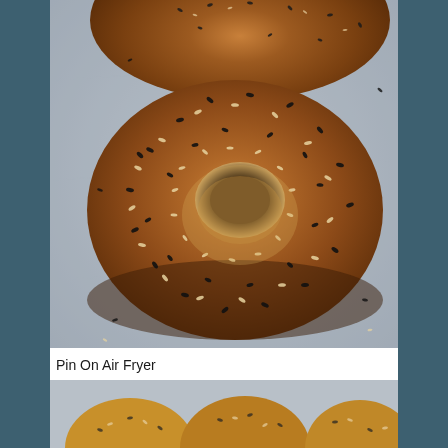[Figure (photo): Overhead close-up photo of everything bagels with seeds (sesame, poppy, etc.) on parchment paper]
Pin On Air Fryer
[Figure (photo): Partially visible photo at the bottom showing baked goods, possibly air-fryer bagels or cookies]